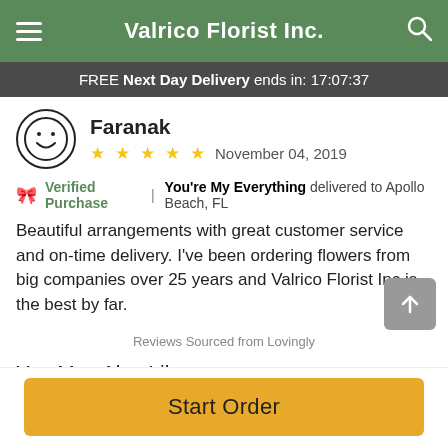Valrico Florist Inc.
FREE Next Day Delivery ends in: 17:07:37
Faranak
★ ★ ★ ★ ★  November 04, 2019
🎀 Verified Purchase | You're My Everything delivered to Apollo Beach, FL
Beautiful arrangements with great customer service and on-time delivery. I've been ordering flowers from big companies over 25 years and Valrico Florist Inc is the best by far.
Reviews Sourced from Lovingly
You May Also Like
Start Order